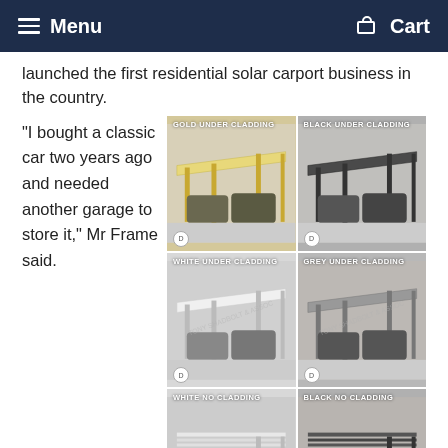Menu  Cart
launched the first residential solar carport business in the country.
“I bought a classic car two years ago and needed another garage to store it,” Mr Frame said.
[Figure (photo): Six renderings of solar carport designs in a 2x3 grid: Gold Under Cladding, Black Under Cladding, White Under Cladding, Grey Under Cladding, White No Cladding, Black No Cladding]
“I thought it would be an excellent idea to put in a carport that had solar panels on the roof.